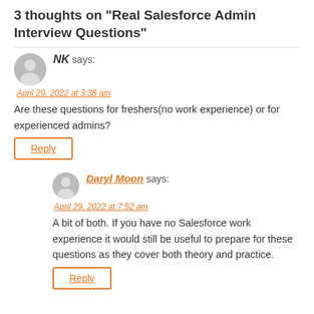3 thoughts on "Real Salesforce Admin Interview Questions"
NK says:
April 29, 2022 at 3:36 am
Are these questions for freshers(no work experience) or for experienced admins?
Reply
Daryl Moon says:
April 29, 2022 at 7:52 am
A bit of both. If you have no Salesforce work experience it would still be useful to prepare for these questions as they cover both theory and practice.
Reply